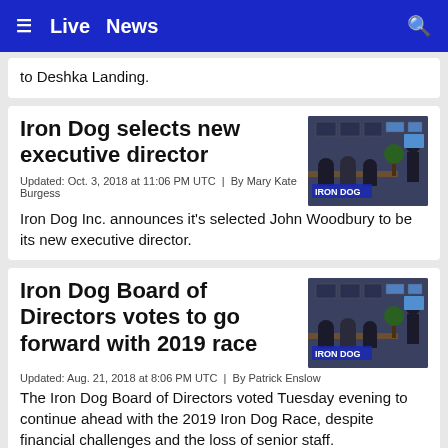≡  Live  News  🔍
to Deshka Landing.
Iron Dog selects new executive director
Updated: Oct. 3, 2018 at 11:06 PM UTC  |  By Mary Kate Burgess
Iron Dog Inc. announces it's selected John Woodbury to be its new executive director.
[Figure (photo): Iron Dog branded office scene with people seated at tables]
Iron Dog Board of Directors votes to go forward with 2019 race
Updated: Aug. 21, 2018 at 8:06 PM UTC  |  By Patrick Enslow
The Iron Dog Board of Directors voted Tuesday evening to continue ahead with the 2019 Iron Dog Race, despite financial challenges and the loss of senior staff.
[Figure (photo): Iron Dog branded office scene with people seated at tables]